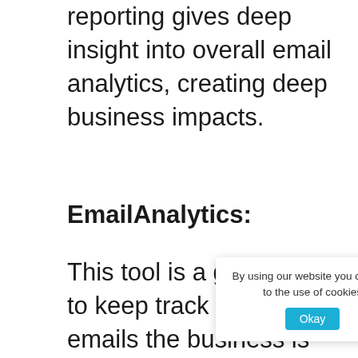reporting gives deep insight into overall email analytics, creating deep business impacts.
EmailAnalytics:
This tool is a great way to keep track of all the emails the business is sending out. Metrics like average email response time, numbers of sent emails, open rates, bounce rates, deliverability rate are all di[splayed right at your ]s desk. This too[l also helps with sendin]g cold email pro[specting, giving your tea]m production the same view. Th...
By using our website you consent to the use of cookies  Okay